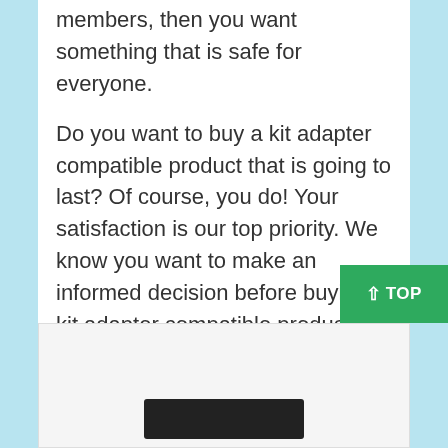members, then you want something that is safe for everyone.
Do you want to buy a kit adapter compatible product that is going to last? Of course, you do! Your satisfaction is our top priority. We know you want to make an informed decision before buying a kit adapter compatible product, which is why we recommend only the best for your needs!
[Figure (photo): Product image placeholder at bottom of page, partially visible dark rectangular device.]